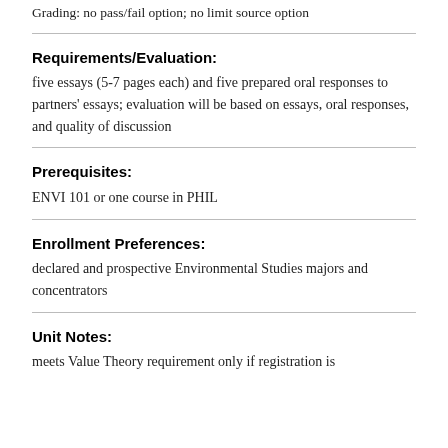Grading: no pass/fail option; no limit source option
Requirements/Evaluation:
five essays (5-7 pages each) and five prepared oral responses to partners' essays; evaluation will be based on essays, oral responses, and quality of discussion
Prerequisites:
ENVI 101 or one course in PHIL
Enrollment Preferences:
declared and prospective Environmental Studies majors and concentrators
Unit Notes:
meets Value Theory requirement only if registration is